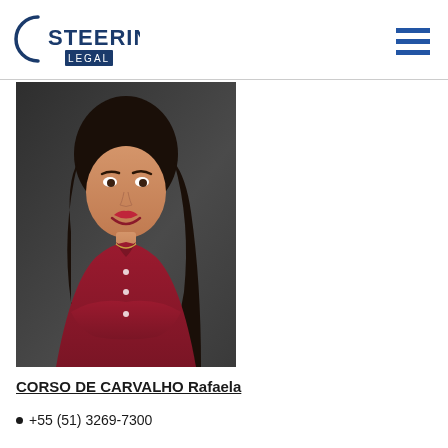[Figure (logo): Steering Legal logo with circular arc and text 'STEERING LEGAL']
[Figure (photo): Professional headshot of Rafaela Corso de Carvalho, a woman in a red blouse with arms crossed, smiling, against a dark background]
CORSO DE CARVALHO Rafaela
+55 (51) 3269-7300